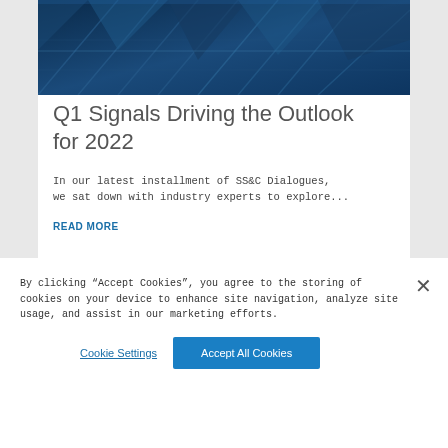[Figure (photo): Dark blue abstract architectural photo showing geometric glass structures and building facades]
Q1 Signals Driving the Outlook for 2022
In our latest installment of SS&C Dialogues, we sat down with industry experts to explore...
READ MORE
By clicking “Accept Cookies”, you agree to the storing of cookies on your device to enhance site navigation, analyze site usage, and assist in our marketing efforts.
Cookie Settings
Accept All Cookies